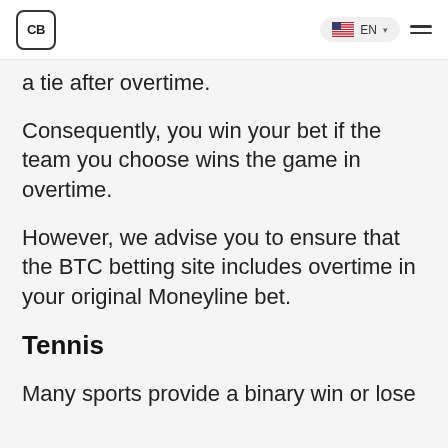CB | EN
a tie after overtime.
Consequently, you win your bet if the team you choose wins the game in overtime.
However, we advise you to ensure that the BTC betting site includes overtime in your original Moneyline bet.
Tennis
Many sports provide a binary win or lose